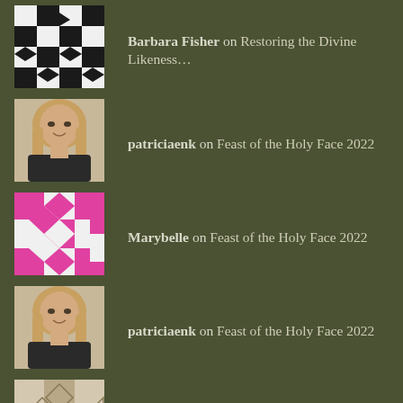Barbara Fisher on Restoring the Divine Likeness…
patriciaenk on Feast of the Holy Face 2022
Marybelle on Feast of the Holy Face 2022
patriciaenk on Feast of the Holy Face 2022
Cynthia Dulay-Bruce on Feast of the Holy Face 2022
ARCHIVES
August 2022
June 2022
May 2022
April 2022